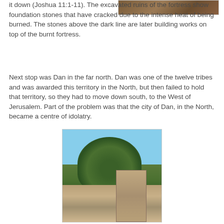[Figure (photo): Partial photo of ruins at the top right corner of the page]
it down (Joshua 11:1-11). The excavated ruins of the fortress show foundation stones that have cracked due to the intense heat of being burned. The stones above the dark line are later building works on top of the burnt fortress.
Next stop was Dan in the far north. Dan was one of the twelve tribes and was awarded this territory in the North, but then failed to hold that territory, so they had to move down south, to the West of Jerusalem. Part of the problem was that the city of Dan, in the North, became a centre of idolatry.
[Figure (photo): Photo showing archaeological ruins at Dan with a large tree in the background and stone structures in the foreground under a blue sky]